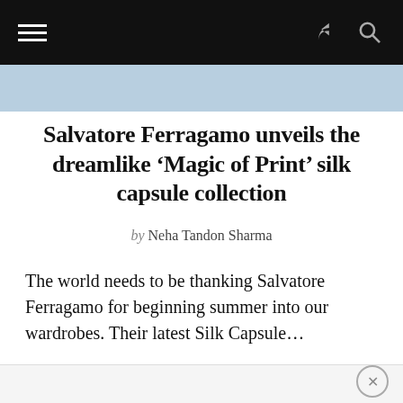Navigation bar with hamburger menu, share icon, and search icon
Salvatore Ferragamo unveils the dreamlike ‘Magic of Print’ silk capsule collection
by Neha Tandon Sharma
The world needs to be thanking Salvatore Ferragamo for beginning summer into our wardrobes. Their latest Silk Capsule…
ADVERTISEMENT
×